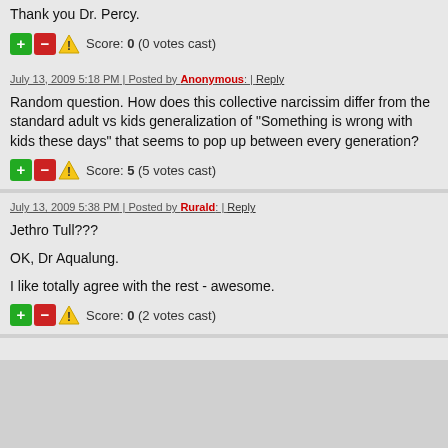Thank you Dr. Percy.
Score: 0 (0 votes cast)
July 13, 2009 5:18 PM | Posted by Anonymous: | Reply
Random question. How does this collective narcissim differ from the standard adult vs kids generalization of "Something is wrong with kids these days" that seems to pop up between every generation?
Score: 5 (5 votes cast)
July 13, 2009 5:38 PM | Posted by Rurald: | Reply
Jethro Tull???
OK, Dr Aqualung.
I like totally agree with the rest - awesome.
Score: 0 (2 votes cast)